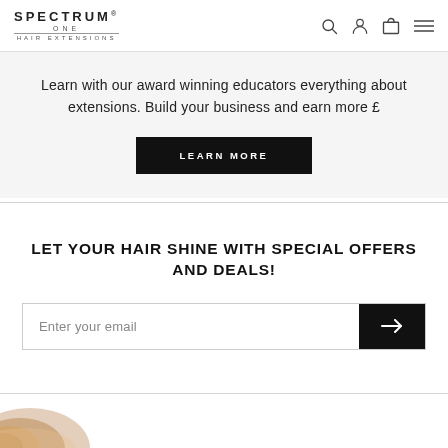SPECTRUM ONE HAIR EXTENSIONS
Learn with our award winning educators everything about extensions. Build your business and earn more £
LEARN MORE
LET YOUR HAIR SHINE WITH SPECIAL OFFERS AND DEALS!
Enter your email
[Figure (photo): Partial view of hair extensions swirl at bottom of page]